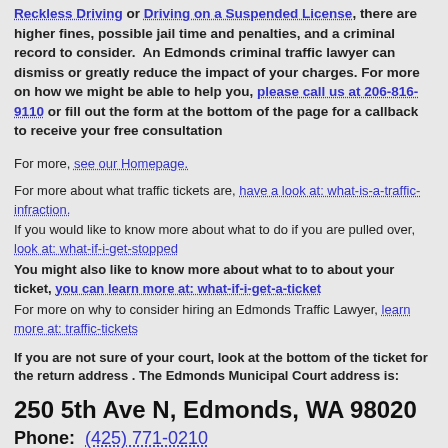Reckless Driving or Driving on a Suspended License, there are higher fines, possible jail time and penalties, and a criminal record to consider. An Edmonds criminal traffic lawyer can dismiss or greatly reduce the impact of your charges. For more on how we might be able to help you, please call us at 206-816-9110 or fill out the form at the bottom of the page for a callback to receive your free consultation
For more, see our Homepage.
For more about what traffic tickets are, have a look at: what-is-a-traffic-infraction.
If you would like to know more about what to do if you are pulled over, look at: what-if-i-get-stopped
You might also like to know more about what to to about your ticket, you can learn more at: what-if-i-get-a-ticket
For more on why to consider hiring an Edmonds Traffic Lawyer, learn more at: traffic-tickets
If you are not sure of your court, look at the bottom of the ticket for the return address . The Edmonds Municipal Court address is:
250 5th Ave N, Edmonds, WA 98020
Phone: (425) 771-0210
The Edmonds Municipal Court...